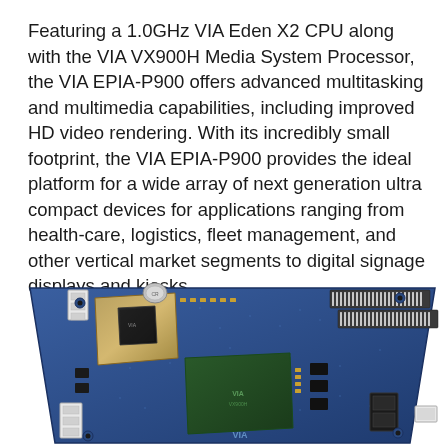Featuring a 1.0GHz VIA Eden X2 CPU along with the VIA VX900H Media System Processor, the VIA EPIA-P900 offers advanced multitasking and multimedia capabilities, including improved HD video rendering. With its incredibly small footprint, the VIA EPIA-P900 provides the ideal platform for a wide array of next generation ultra compact devices for applications ranging from health-care, logistics, fleet management, and other vertical market segments to digital signage displays and kiosks.
[Figure (photo): Photograph of the VIA EPIA-P900 mini-ITX motherboard showing the circuit board with VIA Eden X2 CPU, VX900H Media System Processor, RAM slots, connectors, and various components on a blue PCB, viewed from a slight angle.]